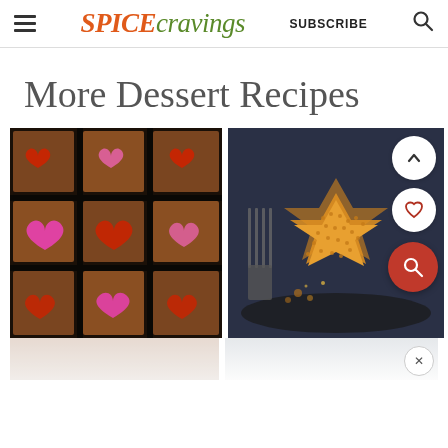SPICE cravings | SUBSCRIBE
More Dessert Recipes
[Figure (photo): Grid of chocolate brownies topped with pink and red heart-shaped decorations on a dark background]
[Figure (photo): Stack of golden sesame-coated star-shaped cookies/brittle on a dark plate with fork, with action buttons overlay (up chevron, heart, search)]